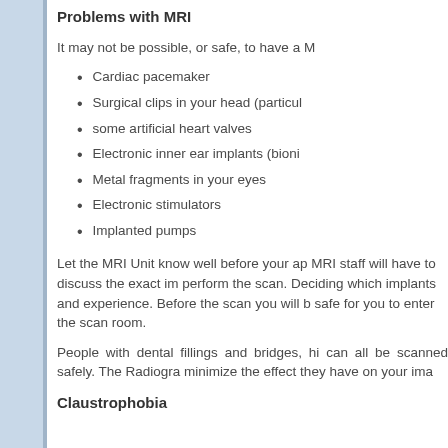Problems with MRI
It may not be possible, or safe, to have a M
Cardiac pacemaker
Surgical clips in your head (particul
some artificial heart valves
Electronic inner ear implants (bioni
Metal fragments in your eyes
Electronic stimulators
Implanted pumps
Let the MRI Unit know well before your ap MRI staff will have to discuss the exact im perform the scan. Deciding which implants and experience. Before the scan you will b safe for you to enter the scan room.
People with dental fillings and bridges, hi can all be scanned safely. The Radiogra minimize the effect they have on your ima
Claustrophobia